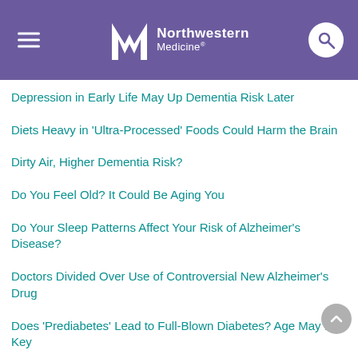Northwestern Medicine
Depression in Early Life May Up Dementia Risk Later
Diets Heavy in 'Ultra-Processed' Foods Could Harm the Brain
Dirty Air, Higher Dementia Risk?
Do You Feel Old? It Could Be Aging You
Do Your Sleep Patterns Affect Your Risk of Alzheimer's Disease?
Doctors Divided Over Use of Controversial New Alzheimer's Drug
Does 'Prediabetes' Lead to Full-Blown Diabetes? Age May Be Key
Doubly Good: Healthy Living Cuts Your Odds for